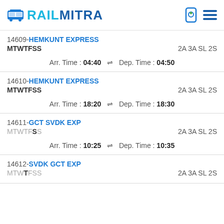RAILMITRA
14609-HEMKUNT EXPRESS | MTWTFSS | 2A 3A SL 2S | Arr. Time : 04:40 Dep. Time : 04:50
14610-HEMKUNT EXPRESS | MTWTFSS | 2A 3A SL 2S | Arr. Time : 18:20 Dep. Time : 18:30
14611-GCT SVDK EXP | MTWTFSS | 2A 3A SL 2S | Arr. Time : 10:25 Dep. Time : 10:35
14612-SVDK GCT EXP | MTWTFSS | 2A 3A SL 2S